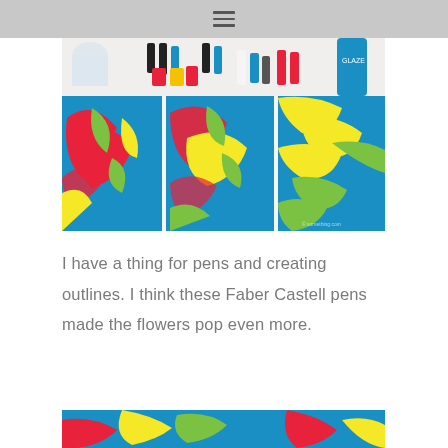≡
[Figure (photo): Colorful abstract floral paintings on three canvas panels displayed on a white surface, with various ink bottles and art supplies in the background. The paintings feature bold red, pink, blue, green, and yellow colors.]
I have a thing for pens and creating outlines. I think these Faber Castell pens made the flowers pop even more.
[Figure (photo): Partial view of another colorful painting at the bottom of the page, showing similar vibrant floral artwork.]